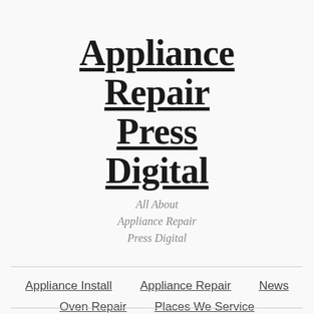Appliance Repair Press Digital
All About Appliance Repair Press Digital
Appliance Install
Appliance Repair
News
Oven Repair
Places We Service
Refrigerator Repair
Washer And Dryer Repair